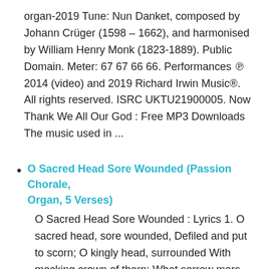organ-2019 Tune: Nun Danket, composed by Johann Crüger (1598 – 1662), and harmonised by William Henry Monk (1823-1889). Public Domain. Meter: 67 67 66 66. Performances ℗ 2014 (video) and 2019 Richard Irwin Music®. All rights reserved. ISRC UKTU21900005. Now Thank We All Our God : Free MP3 Downloads The music used in ...
O Sacred Head Sore Wounded (Passion Chorale, Organ, 5 Verses)
O Sacred Head Sore Wounded : Lyrics 1. O sacred head, sore wounded, Defiled and put to scorn; O kingly head, surrounded With mocking crown of thorn: What sorrow mars Thy grandeur? Can death Thy bloom deflow'r? O countenance whose